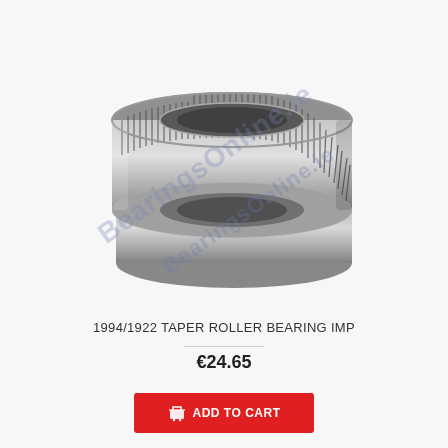[Figure (photo): Two taper roller bearing components: one cone/roller assembly standing upright and one cup/race lying flat below it, both metallic steel color. A watermark reading 'BearingsOnline.ie' is overlaid diagonally across the image.]
1994/1922 TAPER ROLLER BEARING IMP
€24.65
ADD TO CART